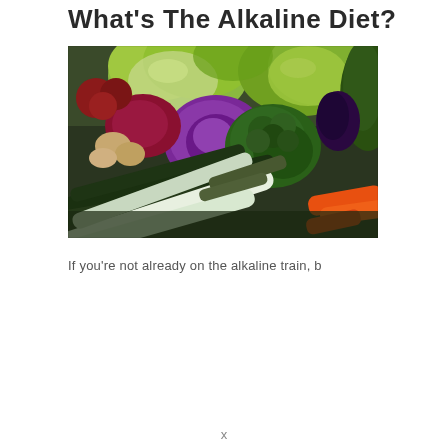What's The Alkaline Diet?
[Figure (photo): A colourful assortment of fresh vegetables including green lettuce, purple cabbage, broccoli, cucumbers, spring onions, carrots, mushrooms, and other produce arranged together on a surface.]
If you're not already on the alkaline train, b
x